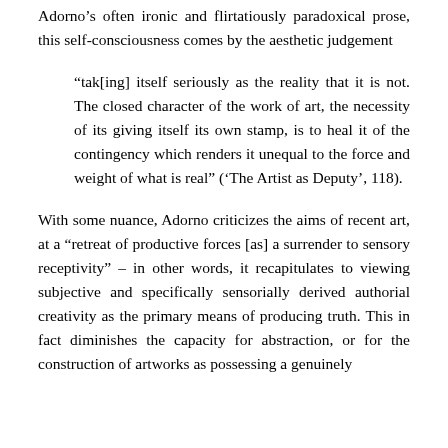Adorno's often ironic and flirtatiously paradoxical prose, this self-consciousness comes by the aesthetic judgement
“tak[ing] itself seriously as the reality that it is not. The closed character of the work of art, the necessity of its giving itself its own stamp, is to heal it of the contingency which renders it unequal to the force and weight of what is real” (‘The Artist as Deputy’, 118).
With some nuance, Adorno criticizes the aims of recent art, at a “retreat of productive forces [as] a surrender to sensory receptivity” – in other words, it recapitulates to viewing subjective and specifically sensorially derived authorial creativity as the primary means of producing truth. This in fact diminishes the capacity for abstraction, or for the construction of artworks as possessing a genuinely